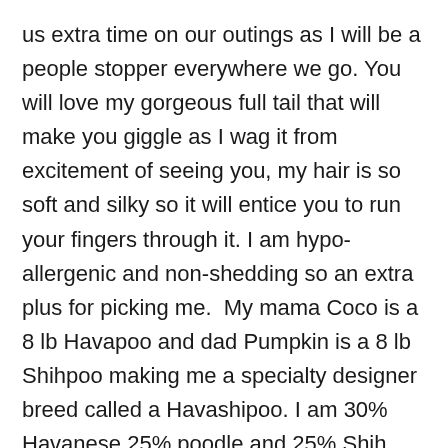us extra time on our outings as I will be a people stopper everywhere we go. You will love my gorgeous full tail that will make you giggle as I wag it from excitement of seeing you, my hair is so soft and silky so it will entice you to run your fingers through it. I am hypo-allergenic and non-shedding so an extra plus for picking me.  My mama Coco is a 8 lb Havapoo and dad Pumpkin is a 8 lb Shihpoo making me a specialty designer breed called a Havashipoo. I am 30% Havanese 25% poodle and 25% Shih Tzu making for a lovable smart puppy so I promise to learn fast! I'm very lovable and will love to be your lap baby. My birth weight was only 5 oz making my estimated adult weight is 6-8 lbs unlike regular Havashipoo that weigh 18-22 lbs  I was born on Christmas Day so my birthday will always be easy to remember  I will be ready to join my new family on Feb 19th so right after Valentines